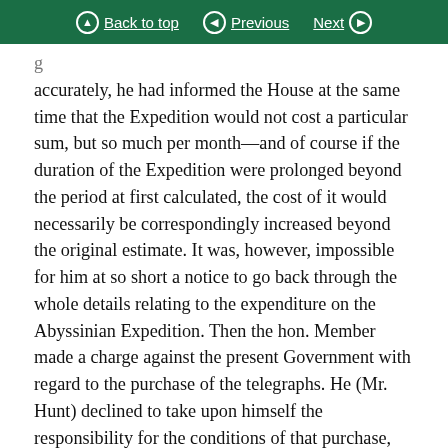Back to top | Previous | Next
accurately, he had informed the House at the same time that the Expedition would not cost a particular sum, but so much per month—and of course if the duration of the Expedition were prolonged beyond the period at first calculated, the cost of it would necessarily be correspondingly increased beyond the original estimate. It was, however, impossible for him at so short a notice to go back through the whole details relating to the expenditure on the Abyssinian Expedition. Then the hon. Member made a charge against the present Government with regard to the purchase of the telegraphs. He (Mr. Hunt) declined to take upon himself the responsibility for the conditions of that purchase, seeing that the purchase was completed, not by the